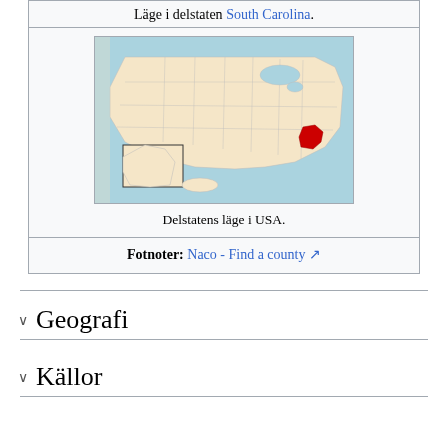Läge i delstaten South Carolina.
[Figure (map): Map of the United States with South Carolina highlighted in red.]
Delstatens läge i USA.
Fotnoter: Naco - Find a county
Geografi
Källor